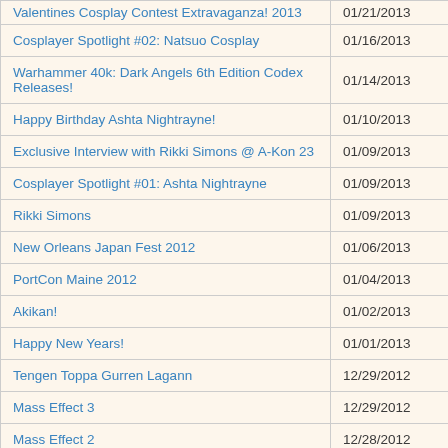| Title | Date |
| --- | --- |
| Valentines Cosplay Contest Extravaganza! 2013 | 01/21/2013 |
| Cosplayer Spotlight #02: Natsuo Cosplay | 01/16/2013 |
| Warhammer 40k: Dark Angels 6th Edition Codex Releases! | 01/14/2013 |
| Happy Birthday Ashta Nightrayne! | 01/10/2013 |
| Exclusive Interview with Rikki Simons @ A-Kon 23 | 01/09/2013 |
| Cosplayer Spotlight #01: Ashta Nightrayne | 01/09/2013 |
| Rikki Simons | 01/09/2013 |
| New Orleans Japan Fest 2012 | 01/06/2013 |
| PortCon Maine 2012 | 01/04/2013 |
| Akikan! | 01/02/2013 |
| Happy New Years! | 01/01/2013 |
| Tengen Toppa Gurren Lagann | 12/29/2012 |
| Mass Effect 3 | 12/29/2012 |
| Mass Effect 2 | 12/28/2012 |